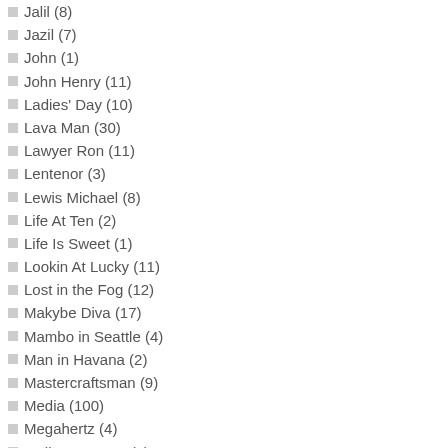Jalil (8)
Jazil (7)
John (1)
John Henry (11)
Ladies' Day (10)
Lava Man (30)
Lawyer Ron (11)
Lentenor (3)
Lewis Michael (8)
Life At Ten (2)
Life Is Sweet (1)
Lookin At Lucky (11)
Lost in the Fog (12)
Makybe Diva (17)
Mambo in Seattle (4)
Man in Havana (2)
Mastercraftsman (9)
Media (100)
Megahertz (4)
Melbourne Cup (5)
Mine That Bird (36)
Miss Andretti (13)
Miss Finland (4)
Monastic Springs (2)
Montmartre (2)
Mucho Macho Man (2)
Munnings (12)
1 Careless Jewel, Josie Carroll, R. L. an